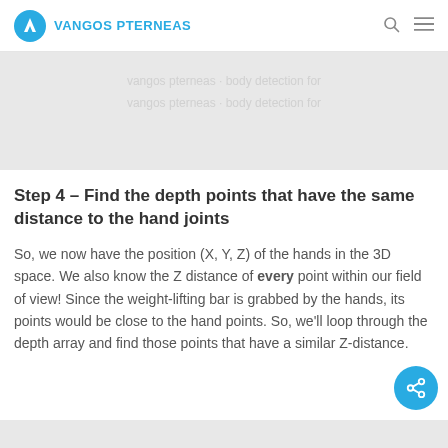VANGOS PTERNEAS
[Figure (photo): Gray placeholder image area at the top of the page with faded repeated text overlay]
Step 4 – Find the depth points that have the same distance to the hand joints
So, we now have the position (X, Y, Z) of the hands in the 3D space. We also know the Z distance of every point within our field of view! Since the weight-lifting bar is grabbed by the hands, its points would be close to the hand points. So, we'll loop through the depth array and find those points that have a similar Z-distance.